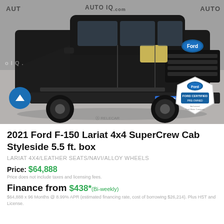[Figure (photo): Black 2021 Ford F-150 Lariat 4x4 SuperCrew Cab truck parked, front 3/4 view. Watermarks 'AUT', 'AUTO IQ .com', 'AUTO' across top. Year badge '2021' visible on front plate. Ford Certified Pre-Owned badge in lower right corner.]
2021 Ford F-150 Lariat 4x4 SuperCrew Cab Styleside 5.5 ft. box
LARIAT 4X4/LEATHER SEATS/NAVI/ALLOY WHEELS
Price: $64,888
Price does not include taxes and licensing fees.
Finance from $438* (Bi-weekly)
$64,888 x 96 Months @ 8.99% APR (estimated financing rate, cost of borrowing $26,214). Plus HST and License.